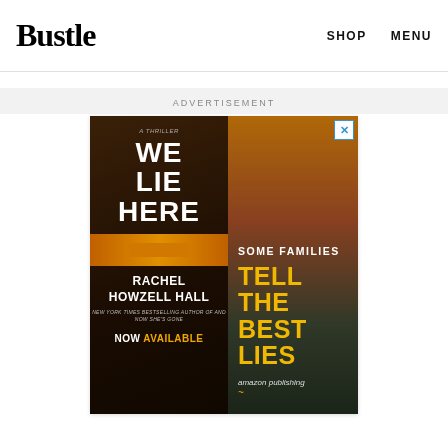Bustle  SHOP  MENU
I'm not mad for JoJo, I'm not sorry this will be excellent television.
ADVERTISEMENT
[Figure (photo): Advertisement for 'We Lie Here' by Rachel Howzell Hall. Book cover on dark background with yellow car, tagline 'SOME FAMILIES TELL THE BEST LIES', 'NOW AVAILABLE', Amazon Publishing branding.]